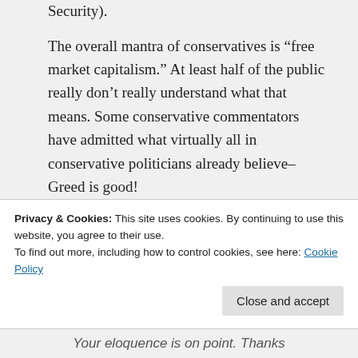Security).
The overall mantra of conservatives is “free market capitalism.” At least half of the public really don’t really understand what that means. Some conservative commentators have admitted what virtually all in conservative politicians already believe–Greed is good!
★ Like
↳ Reply
Privacy & Cookies: This site uses cookies. By continuing to use this website, you agree to their use.
To find out more, including how to control cookies, see here: Cookie Policy
Close and accept
Your eloquence is on point. Thanks